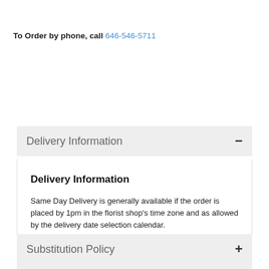To Order by phone, call 646-546-5711
Delivery Information
Delivery Information
Same Day Delivery is generally available if the order is placed by 1pm in the florist shop's time zone and as allowed by the delivery date selection calendar.
Click here to know more
Substitution Policy